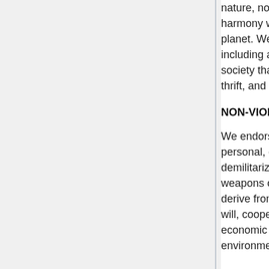nature, not separate from it. We must learn to live in harmony with nature, within the natural limits of our planet. We respect and relish the ways of nature, including all forms of life. We support a sustainable society that uses natural resources with wisdom, thrift, and with future generations in mind.
NON-VIOLENCE
We endorse non-violence, and work towards lasting personal, community and global peace. We support demilitarization, disarmament and elimination of all weapons of mass destruction. Security does not derive from military strength but from justice, good will, cooperation, negotiation, mutual respect, sound economic and social development, and environmental